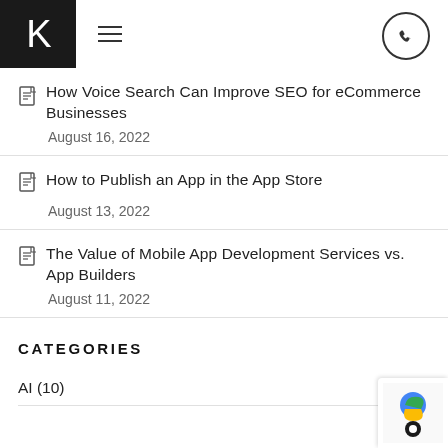K [logo] [hamburger menu] [phone button]
How Voice Search Can Improve SEO for eCommerce Businesses
August 16, 2022
How to Publish an App in the App Store
August 13, 2022
The Value of Mobile App Development Services vs. App Builders
August 11, 2022
CATEGORIES
AI (10)